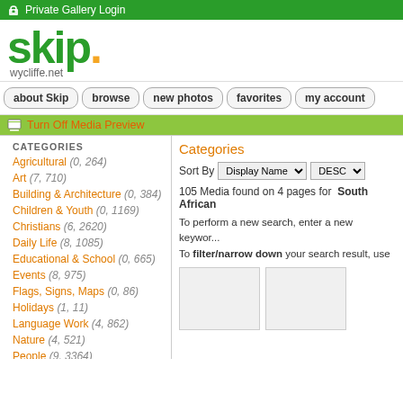Private Gallery Login
[Figure (logo): skip.wycliffe.net logo in green with orange dot]
about Skip
browse
new photos
favorites
my account
Turn Off Media Preview
CATEGORIES
Agricultural (0, 264)
Art (7, 710)
Building & Architecture (0, 384)
Children & Youth (0, 1169)
Christians (6, 2620)
Daily Life (8, 1085)
Educational & School (0, 665)
Events (8, 975)
Flags, Signs, Maps (0, 86)
Holidays (1, 11)
Language Work (4, 862)
Nature (4, 521)
People (9, 3364)
Religion (3, 393)
Scenery (4, 2002)
Categories
Sort By Display Name DESC
105 Media found on 4 pages for South African
To perform a new search, enter a new keyword. To filter/narrow down your search result, use